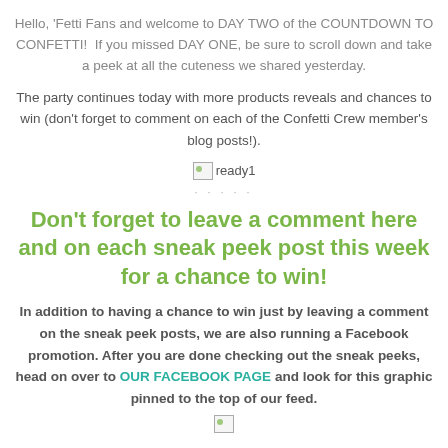Hello, 'Fetti Fans and welcome to DAY TWO of the COUNTDOWN TO CONFETTI!  If you missed DAY ONE, be sure to scroll down and take a peek at all the cuteness we shared yesterday.
The party continues today with more products reveals and chances to win (don't forget to comment on each of the Confetti Crew member's blog posts!).
[Figure (other): Broken image placeholder labeled 'ready1']
. . . . .
Don't forget to leave a comment here and on each sneak peek post this week for a chance to win!
In addition to having a chance to win just by leaving a comment on the sneak peek posts, we are also running a Facebook promotion. After you are done checking out the sneak peeks, head on over to OUR FACEBOOK PAGE and look for this graphic pinned to the top of our feed.
[Figure (other): Broken image placeholder at bottom of page]